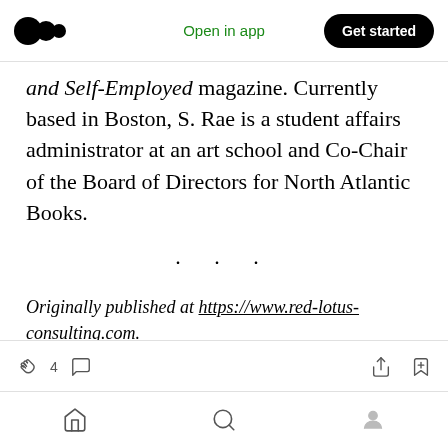Open in app | Get started
and Self-Employed magazine. Currently based in Boston, S. Rae is a student affairs administrator at an art school and Co-Chair of the Board of Directors for North Atlantic Books.
· · ·
Originally published at https://www.red-lotus-consulting.com.
4 [clap icon] [comment icon] [share icon] [bookmark icon] | [home] [search] [profile]